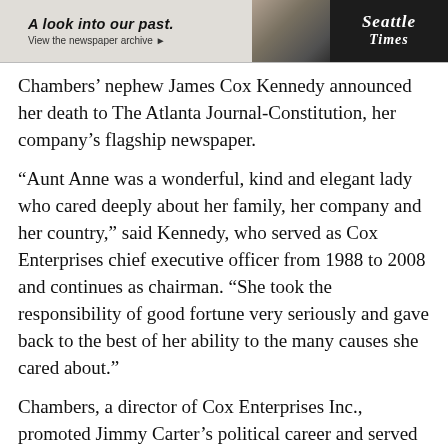[Figure (screenshot): Advertisement banner for Seattle Times newspaper archive with headline 'A look into our past. View the newspaper archive ▶' and Seattle Times logo on dark background.]
Chambers’ nephew James Cox Kennedy announced her death to The Atlanta Journal-Constitution, her company’s flagship newspaper.
“Aunt Anne was a wonderful, kind and elegant lady who cared deeply about her family, her company and her country,” said Kennedy, who served as Cox Enterprises chief executive officer from 1988 to 2008 and continues as chairman. “She took the responsibility of good fortune very seriously and gave back to the best of her ability to the many causes she cared about.”
Chambers, a director of Cox Enterprises Inc., promoted Jimmy Carter’s political career and served as U.S. ambassador to Belgium during his